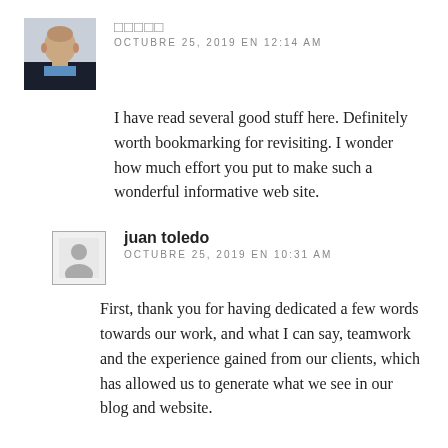[Figure (photo): Avatar photo of a middle-aged bald man in a dark jacket with a light blue shirt]
□□□□□
OCTUBRE 25, 2019 EN 12:14 AM
I have read several good stuff here. Definitely worth bookmarking for revisiting. I wonder how much effort you put to make such a wonderful informative web site.
[Figure (illustration): Generic user avatar silhouette placeholder icon with border]
juan toledo
OCTUBRE 25, 2019 EN 10:31 AM
First, thank you for having dedicated a few words towards our work, and what I can say, teamwork and the experience gained from our clients, which has allowed us to generate what we see in our blog and website.